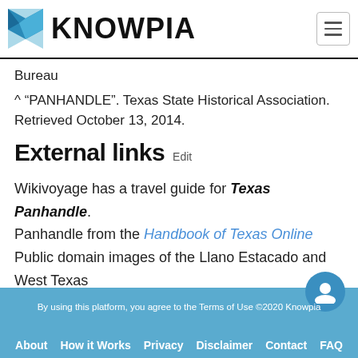KNOWPIA
Bureau
^ "PANHANDLE". Texas State Historical Association. Retrieved October 13, 2014.
External links Edit
Wikivoyage has a travel guide for Texas Panhandle.
Panhandle from the Handbook of Texas Online
Public domain images of the Llano Estacado and West Texas
By using this platform, you agree to the Terms of Use ©2020 Knowpia
About   How it Works   Privacy   Disclaimer   Contact   FAQ